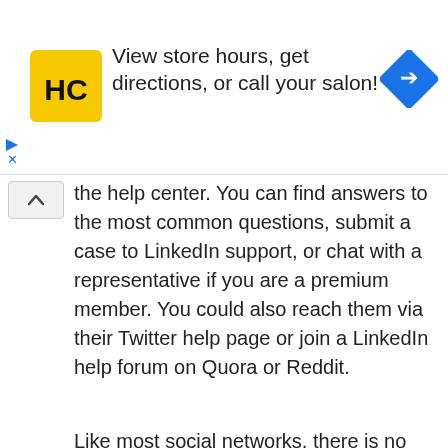[Figure (infographic): Advertisement banner: HC salon logo (yellow square with black HC text), text 'View store hours, get directions, or call your salon!', and a blue map direction diamond icon on the right. Small play and X controls on the lower left.]
the help center. You can find answers to the most common questions, submit a case to LinkedIn support, or chat with a representative if you are a premium member. You could also reach them via their Twitter help page or join a LinkedIn help forum on Quora or Reddit.
Like most social networks, there is no way to call LinkedIn customer care. The company does not provide any LinkedIn phone number on its website, and the numbers provided by other websites do not go through. There is also no LinkedIn customer service email address to write to.
LinkedIn.com notes that they do not charge their